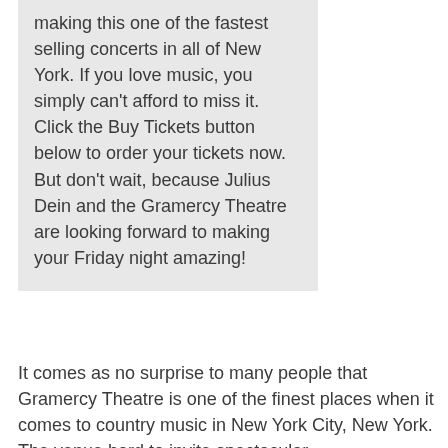making this one of the fastest selling concerts in all of New York. If you love music, you simply can't afford to miss it. Click the Buy Tickets button below to order your tickets now. But don't wait, because Julius Dein and the Gramercy Theatre are looking forward to making your Friday night amazing!
It comes as no surprise to many people that Gramercy Theatre is one of the finest places when it comes to country music in New York City, New York. The venue hard to invite spectacular